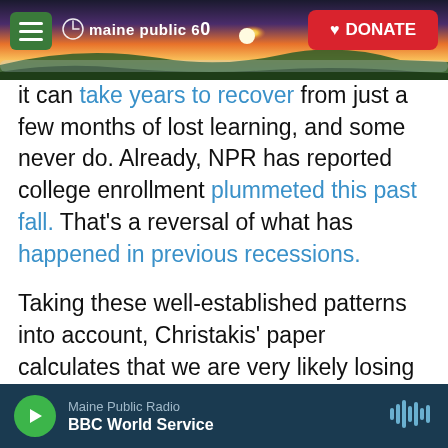[Figure (screenshot): Maine Public 60 website header with landscape sunset photo, hamburger menu button, logo, and red Donate button]
it can take years to recover from just a few months of lost learning, and some never do. Already, NPR has reported college enrollment plummeted this past fall. That's a reversal of what has happened in previous recessions.
Taking these well-established patterns into account, Christakis' paper calculates that we are very likely losing more years of life by keeping schools closed, than we would have lost to COVID-19 if we had kept schools open:
"This estimated loss in life expectancy was likely to be greater than would have been observed if
Maine Public Radio — BBC World Service